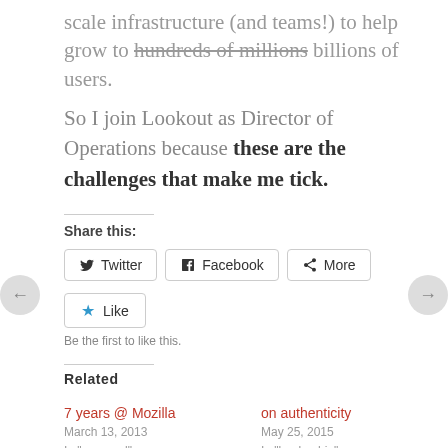scale infrastructure (and teams!) to help grow to hundreds of millions billions of users.
So I join Lookout as Director of Operations because these are the challenges that make me tick.
Share this:
[Figure (other): Social share buttons: Twitter, Facebook, More]
[Figure (other): Like button with blue star]
Be the first to like this.
Related
7 years @ Mozilla
March 13, 2013
on authenticity
May 25, 2015